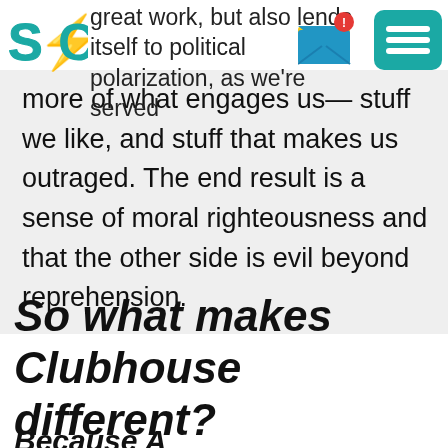[Figure (logo): SIC logo with lightning bolt, teal and yellow colors]
great work, but also lends itself to political polarization, as we're served
[Figure (screenshot): Email envelope notification icon with red badge]
[Figure (screenshot): Teal hamburger menu button]
more of what engages us— stuff we like, and stuff that makes us outraged. The end result is a sense of moral righteousness and that the other side is evil beyond reprehension.
So what makes Clubhouse different?
Because A